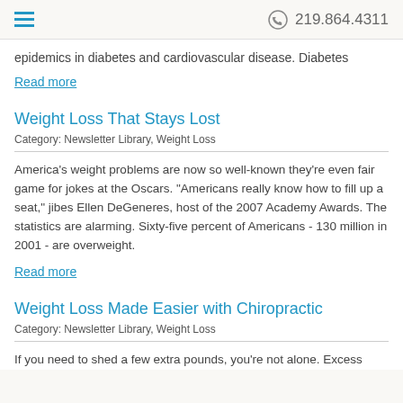219.864.4311
epidemics in diabetes and cardiovascular disease. Diabetes
Read more
Weight Loss That Stays Lost
Category: Newsletter Library, Weight Loss
America's weight problems are now so well-known they're even fair game for jokes at the Oscars. "Americans really know how to fill up a seat," jibes Ellen DeGeneres, host of the 2007 Academy Awards. The statistics are alarming. Sixty-five percent of Americans - 130 million in 2001 - are overweight.
Read more
Weight Loss Made Easier with Chiropractic
Category: Newsletter Library, Weight Loss
If you need to shed a few extra pounds, you're not alone. Excess